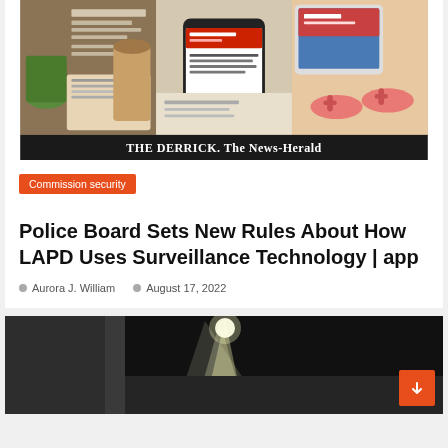[Figure (photo): Collage of newspaper reading scenes: person reading newspaper with coffee, smartphone showing news app, tablet showing magazine, flip flops on beach. Bottom banner reads 'THE DERRICK. The News-Herald']
Commission security
Police Board Sets New Rules About How LAPD Uses Surveillance Technology | app
Aurora J. William   August 17, 2022
[Figure (photo): Dark photo showing a bright spotlight/flashlight beam in a night scene, with glasses of drinks visible at the bottom]